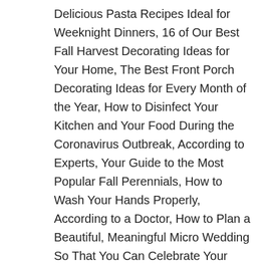Delicious Pasta Recipes Ideal for Weeknight Dinners, 16 of Our Best Fall Harvest Decorating Ideas for Your Home, The Best Front Porch Decorating Ideas for Every Month of the Year, How to Disinfect Your Kitchen and Your Food During the Coronavirus Outbreak, According to Experts, Your Guide to the Most Popular Fall Perennials, How to Wash Your Hands Properly, According to a Doctor, How to Plan a Beautiful, Meaningful Micro Wedding So That You Can Celebrate Your Postponed Nuptials Right Now, Six Ways to Take Care of Your Mental Health While You Work from Home. Simmer for about 1 hr, stirring occasionally until the mixture is thick and pulpy. Transfer the tomatoes and chillies in the jar of a blender. Copyright 2020 Bennett coleman and co. ltd.All rights reserved.The Times of India. Hosting fewer guests this holiday season due to the coronavirus pandemic? | For reprint rights: Times